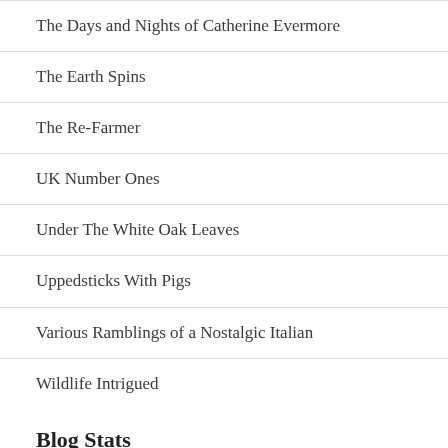The Days and Nights of Catherine Evermore
The Earth Spins
The Re-Farmer
UK Number Ones
Under The White Oak Leaves
Uppedsticks With Pigs
Various Ramblings of a Nostalgic Italian
Wildlife Intrigued
Blog Stats
97,199 hits